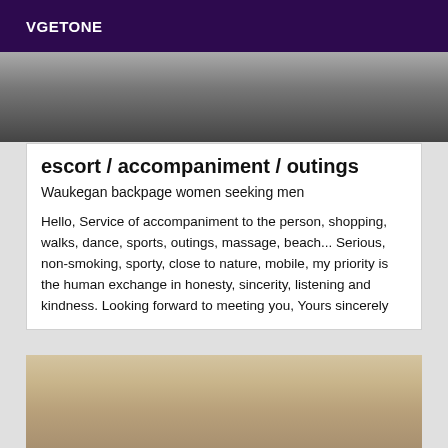VGETONE
[Figure (photo): Partial background photo, dark and blurred, showing lower body/legs in outdoor setting]
escort / accompaniment / outings
Waukegan backpage women seeking men
Hello, Service of accompaniment to the person, shopping, walks, dance, sports, outings, massage, beach... Serious, non-smoking, sporty, close to nature, mobile, my priority is the human exchange in honesty, sincerity, listening and kindness. Looking forward to meeting you, Yours sincerely
[Figure (photo): Blurred photo of a blonde woman's face and upper body, indoor background]